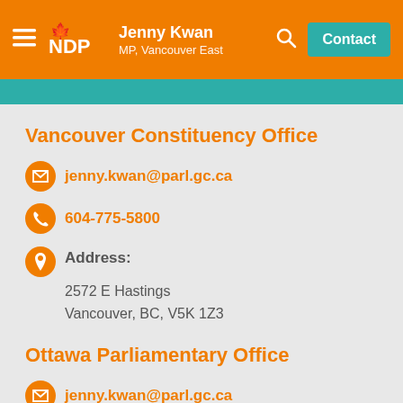Jenny Kwan MP, Vancouver East — NDP Contact
Vancouver Constituency Office
jenny.kwan@parl.gc.ca
604-775-5800
Address: 2572 E Hastings Vancouver, BC, V5K 1Z3
Ottawa Parliamentary Office
jenny.kwan@parl.gc.ca
613-992-6030
Address: